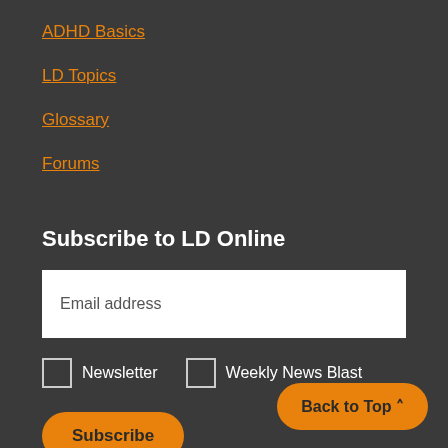ADHD Basics
LD Topics
Glossary
Forums
Subscribe to LD Online
Email address
Newsletter
Weekly News Blast
Subscribe
Back to Top ^